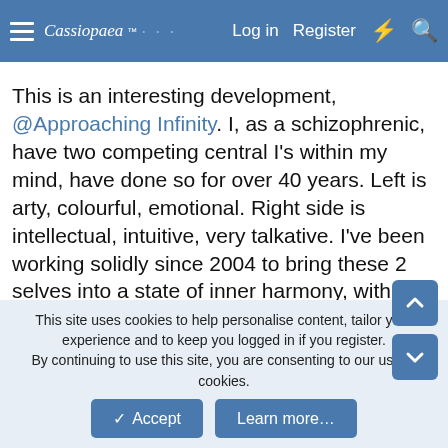Cassiopaea Log in Register
This is an interesting development, @Approaching Infinity. I, as a schizophrenic, have two competing central I's within my mind, have done so for over 40 years. Left is arty, colourful, emotional. Right side is intellectual, intuitive, very talkative. I've been working solidly since 2004 to bring these 2 selves into a state of inner harmony, with variable levels of success, small victories in a longer war. I've long suspected that my right brain knows more about objective reality, but feels less. This always motivated me to bring the two halves together, it seemed a natural and logical conclusion. Harder than it seems however! I've been working on this now for 18 years, and my journals are a constant form of reference for me in this task. One part of me feels more, and another part
This site uses cookies to help personalise content, tailor your experience and to keep you logged in if you register.
By continuing to use this site, you are consenting to our use of cookies.
✓ Accept    Learn more…